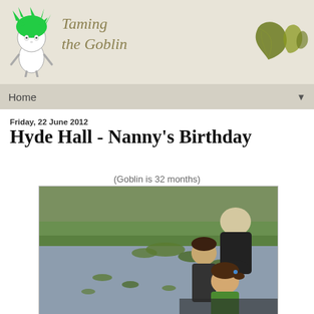Taming the Goblin
Home
Friday, 22 June 2012
Hyde Hall - Nanny's Birthday
(Goblin is 32 months)
[Figure (photo): Two children and an adult leaning over a pond with lily pads, at Hyde Hall gardens]